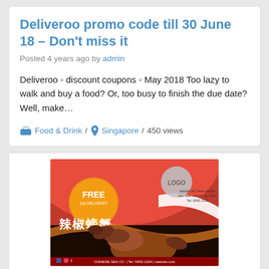Deliveroo promo code till 30 June 18 – Don't miss it
Posted 4 years ago by admin
Deliveroo ◦ discount coupons ◦ May 2018 Too lazy to walk and buy a food? Or, too busy to finish the due date? Well, make...
Food & Drink / Singapore / 450 views
[Figure (photo): Food promotional poster with red background showing spicy crab dish with Chinese text, a FREE badge in orange circle, LOGO placeholder, and restaurant contact details at bottom]